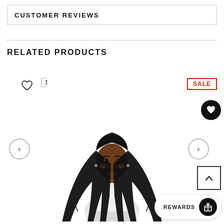CUSTOMER REVIEWS
RELATED PRODUCTS
[Figure (photo): A woman with long curly braided hair wearing a white top, displayed as a product image for a related product with a SALE badge and a heart/like button showing 18 likes.]